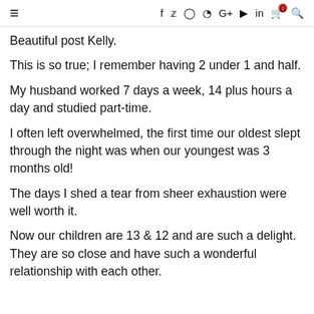≡ f t ○ ⊕ G+ ▶ in 🛒0 🔍
Beautiful post Kelly.
This is so true; I remember having 2 under 1 and half.
My husband worked 7 days a week, 14 plus hours a day and studied part-time.
I often left overwhelmed, the first time our oldest slept through the night was when our youngest was 3 months old!
The days I shed a tear from sheer exhaustion were well worth it.
Now our children are 13 & 12 and are such a delight. They are so close and have such a wonderful relationship with each other.